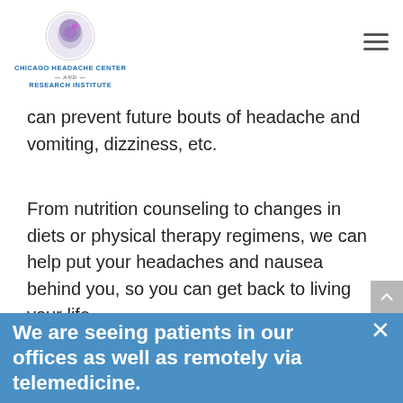Chicago Headache Center and Research Institute
can prevent future bouts of headache and vomiting, dizziness, etc.
From nutrition counseling to changes in diets or physical therapy regimens, we can help put your headaches and nausea behind you, so you can get back to living your life.
[Figure (photo): Partial photo of a person (top of head visible), with dark background on right side]
We are seeing patients in our offices as well as remotely via telemedicine.